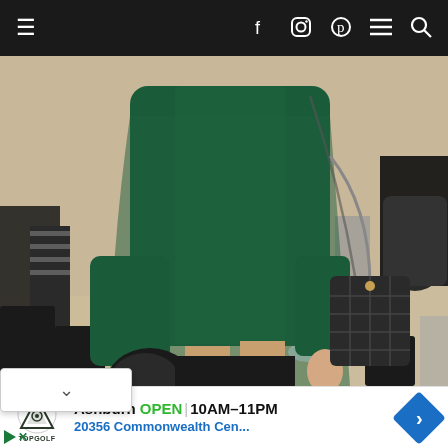Navigation bar with hamburger menu, social icons (Facebook, Instagram, Pinterest), list icon, and search icon
[Figure (photo): Street style fashion photo showing a person wearing a dark green/teal oversized dress or sweater, holding a black quilted handbag, surrounded by other pedestrians in a public outdoor space. The person is photographed from mid-body down, showing bare legs and black knee-high boots. Beige/stone pavement background.]
Ashburn OPEN 10AM–11PM 20356 Commonwealth Cen...